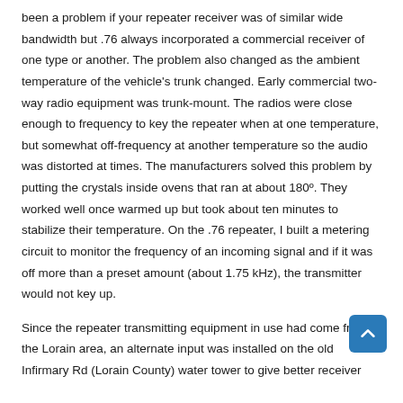been a problem if your repeater receiver was of similar wide bandwidth but .76 always incorporated a commercial receiver of one type or another. The problem also changed as the ambient temperature of the vehicle's trunk changed. Early commercial two-way radio equipment was trunk-mount. The radios were close enough to frequency to key the repeater when at one temperature, but somewhat off-frequency at another temperature so the audio was distorted at times. The manufacturers solved this problem by putting the crystals inside ovens that ran at about 180º. They worked well once warmed up but took about ten minutes to stabilize their temperature. On the .76 repeater, I built a metering circuit to monitor the frequency of an incoming signal and if it was off more than a preset amount (about 1.75 kHz), the transmitter would not key up.
Since the repeater transmitting equipment in use had come from the Lorain area, an alternate input was installed on the old Infirmary Rd (Lorain County) water tower to give better receiver